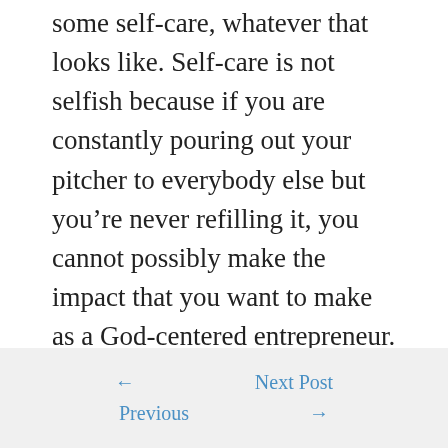some self-care, whatever that looks like. Self-care is not selfish because if you are constantly pouring out your pitcher to everybody else but you're never refilling it, you cannot possibly make the impact that you want to make as a God-centered entrepreneur.
← Previous | Next Post →